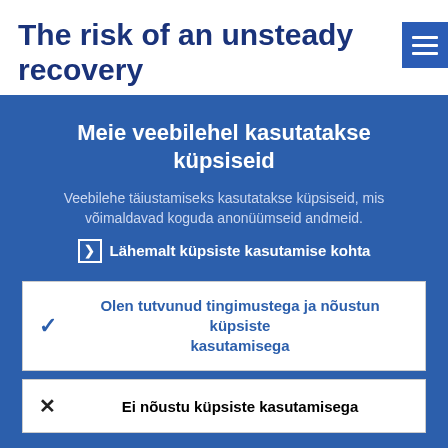The risk of an unsteady recovery
Meie veebilehel kasutatakse küpsiseid
Veebilehe täiustamiseks kasutatakse küpsiseid, mis võimaldavad koguda anonüümseid andmeid.
Lähemalt küpsiste kasutamise kohta
Olen tutvunud tingimustega ja nõustun küpsiste kasutamisega
Ei nõustu küpsiste kasutamisega